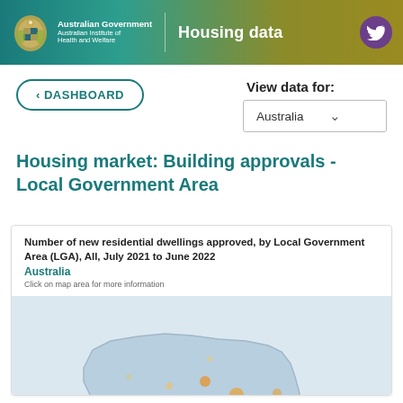Australian Government Australian Institute of Health and Welfare | Housing data
< DASHBOARD
View data for: Australia
Housing market: Building approvals - Local Government Area
Number of new residential dwellings approved, by Local Government Area (LGA), All, July 2021 to June 2022
Australia
Click on map area for more information
[Figure (map): Map of Australia showing number of new residential dwellings approved by Local Government Area, July 2021 to June 2022]
Privacy · Terms